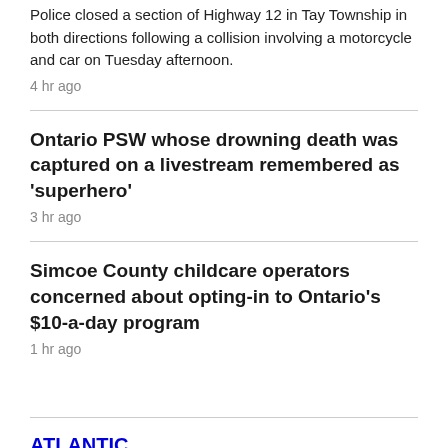Police closed a section of Highway 12 in Tay Township in both directions following a collision involving a motorcycle and car on Tuesday afternoon.
4 hr ago
Ontario PSW whose drowning death was captured on a livestream remembered as 'superhero'
3 hr ago
Simcoe County childcare operators concerned about opting-in to Ontario's $10-a-day program
1 hr ago
ATLANTIC